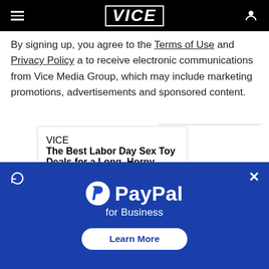VICE
By signing up, you agree to the Terms of Use and Privacy Policy a to receive electronic communications from Vice Media Group, which may include marketing promotions, advertisements and sponsored content.
[Figure (screenshot): VICE article card showing title 'The Best Labor Day Sex Toy Deals for a Long, Horny Weekend' by MARY FRANCES]
[Figure (infographic): PayPal for Business advertisement banner with Learn More button on blue background]